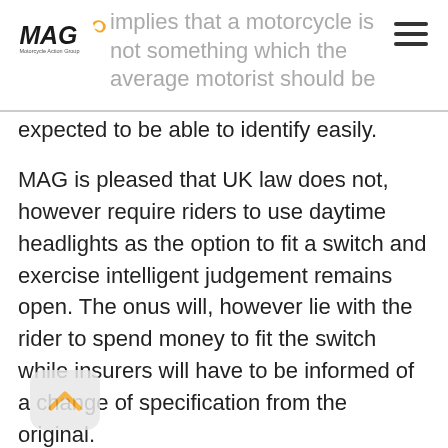MAG – Motorcycle Action Group | implies that a motorcycle is not something which the average motorist should be expected to be able to identify easily.
MAG is pleased that UK law does not, however require riders to use daytime headlights as the option to fit a switch and exercise intelligent judgement remains open. The onus will, however lie with the rider to spend money to fit the switch while insurers will have to be informed of a change of specification from the original.
MAG President Ian Mutch said, “If a motorist cannot see a motorcycle and rider in perfect visibility without it being illuminated by blazing lights then a question about that driver’s